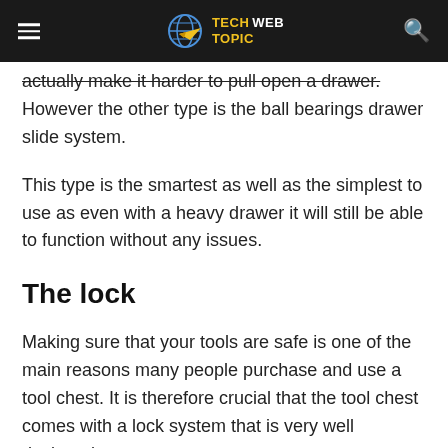TECH WEB TOPIC
actually make it harder to pull open a drawer. However the other type is the ball bearings drawer slide system.
This type is the smartest as well as the simplest to use as even with a heavy drawer it will still be able to function without any issues.
The lock
Making sure that your tools are safe is one of the main reasons many people purchase and use a tool chest. It is therefore crucial that the tool chest comes with a lock system that is very well designed